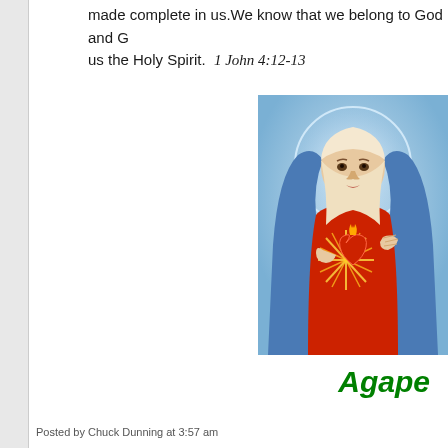made complete in us.We know that we belong to God and G... us the Holy Spirit.  1 John 4:12-13
[Figure (illustration): Religious illustration of the Virgin Mary (Immaculate Heart of Mary) wearing blue and red robes, with a glowing sacred heart on her chest, against a blue halo background.]
Agape
Posted by Chuck Dunning at 3:57 am